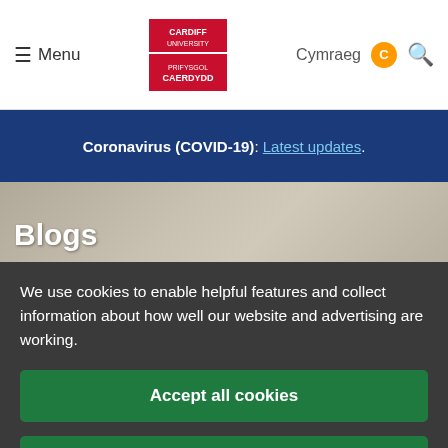Menu | Cardiff University | Cymraeg | Search
Coronavirus (COVID-19): Latest updates.
Blogs
We use cookies to enable helpful features and collect information about how well our website and advertising are working.
Accept all cookies
Manage your cookie preferences